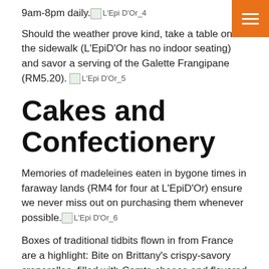9am-8pm daily. [L'Epi D'Or_4]
Should the weather prove kind, take a table on the sidewalk (L'EpiD'Or has no indoor seating) and savor a serving of the Galette Frangipane (RM5.20). [L'Epi D'Or_5]
Cakes and Confectionery
Memories of madeleines eaten in bygone times in faraway lands (RM4 for four at L'EpiD'Or) ensure we never miss out on purchasing them whenever possible. [L'Epi D'Or_6]
Boxes of traditional tidbits flown in from France are a highlight: Bite on Brittany's crispy-savory creperolles, filled with Comte cheese and flavored with walnuts ...